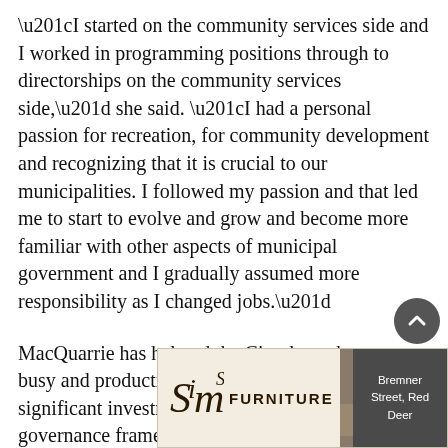“I started on the community services side and I worked in programming positions through to directorships on the community services side,” she said. “I had a personal passion for recreation, for community development and recognizing that it is crucial to our municipalities. I followed my passion and that led me to start to evolve and grow and become more familiar with other aspects of municipal government and I gradually assumed more responsibility as I changed jobs.”
MacQuarrie has helmed the City through a very busy and productive period in Lacombe, with significant investment in civic infrastructure, governance frameworks and municipal programs and services. She has overseen a wide variety of
[Figure (illustration): Sims Furniture advertisement banner showing logo with stylized script text 'Sims' and bold uppercase 'FURNITURE', a photo of two people sitting on a sofa, and address text 'Bremner Street, Red Deer' on a dark background.]